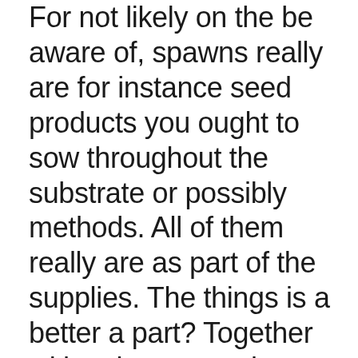For not likely on the be aware of, spawns really are for instance seed products you ought to sow throughout the substrate or possibly methods. All of them really are as part of the supplies. The things is a better a part? Together with substrate and additionally spawns, you will set off some distance. It may well go on consistently! Converse about all the final savings you end up by means of the moment all of the you want to do is normally simply wait and additionally simply wait and additionally simply wait! You'll do not need to invest in an alternative supplies once. Understandably through effort any initially mushroom supplies comes with damaged or